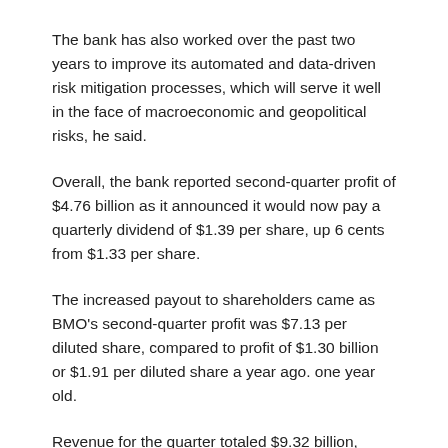The bank has also worked over the past two years to improve its automated and data-driven risk mitigation processes, which will serve it well in the face of macroeconomic and geopolitical risks, he said.
Overall, the bank reported second-quarter profit of $4.76 billion as it announced it would now pay a quarterly dividend of $1.39 per share, up 6 cents from $1.33 per share.
The increased payout to shareholders came as BMO's second-quarter profit was $7.13 per diluted share, compared to profit of $1.30 billion or $1.91 per diluted share a year ago. one year old.
Revenue for the quarter totaled $9.32 billion, down from $6.08 billion in the same quarter last year, while the bank's provision for credit losses was $50 million, down from $60 million. million dollars a year ago.